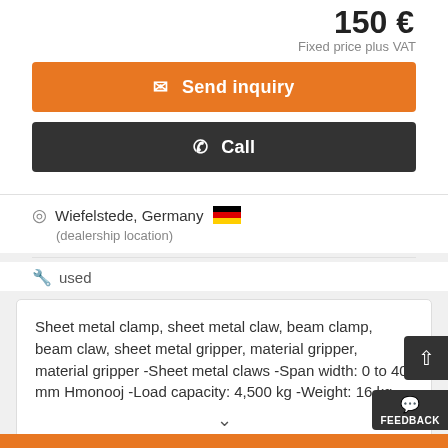150 €
Fixed price plus VAT
✉ Send inquiry
✆ Call
Wiefelstede, Germany
(dealership location)
used
Sheet metal clamp, sheet metal claw, beam clamp, beam claw, sheet metal gripper, material gripper, material gripper -Sheet metal claws -Span width: 0 to 40 mm Hmonooj -Load capacity: 4,500 kg -Weight: 16 kg